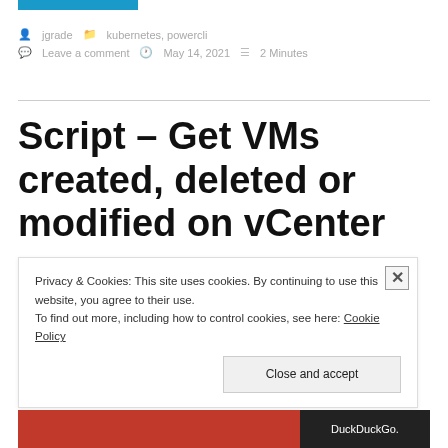jgrade  kubernetes, powercli  Leave a comment  May 14, 2021  2 Minutes
Script – Get VMs created, deleted or modified on vCenter
Privacy & Cookies: This site uses cookies. By continuing to use this website, you agree to their use. To find out more, including how to control cookies, see here: Cookie Policy
Close and accept